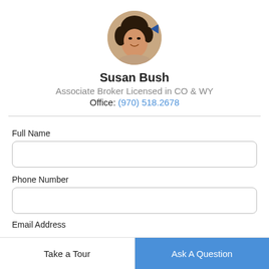[Figure (photo): Circular profile photo of Susan Bush, a woman with dark hair, smiling, with a small blue arrow/shape visible to the right]
Susan Bush
Associate Broker Licensed in CO & WY
Office: (970) 518.2678
Full Name
Phone Number
Email Address
Take a Tour
Ask A Question